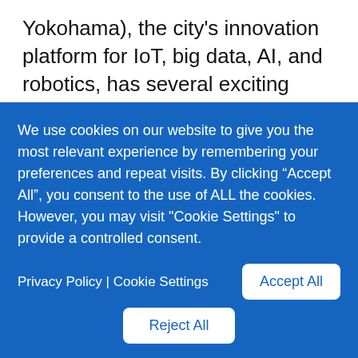Yokohama), the city's innovation platform for IoT, big data, AI, and robotics, has several exciting developments coming up in the first months of 2019.
In early January, the 10th Yokohama Venture Pitch will announce the winning companies that will give on-stage presentations at the
We use cookies on our website to give you the most relevant experience by remembering your preferences and repeat visits. By clicking “Accept All”, you consent to the use of ALL the cookies. However, you may visit "Cookie Settings" to provide a controlled consent.
Privacy Policy | Cookie Settings
Accept All
Reject All